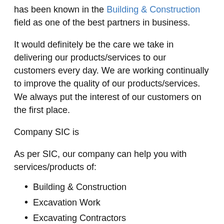has been known in the Building & Construction field as one of the best partners in business.
It would definitely be the care we take in delivering our products/services to our customers every day. We are working continually to improve the quality of our products/services. We always put the interest of our customers on the first place.
Company SIC is
As per SIC, our company can help you with services/products of:
Building & Construction
Excavation Work
Excavating Contractors
Construction
Over the years we have recruited the best workers in the field of Excavation Work. They are all certified